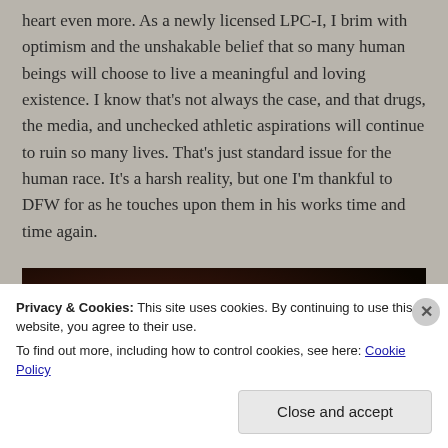heart even more. As a newly licensed LPC-I, I brim with optimism and the unshakable belief that so many human beings will choose to live a meaningful and loving existence. I know that's not always the case, and that drugs, the media, and unchecked athletic aspirations will continue to ruin so many lives. That's just standard issue for the human race. It's a harsh reality, but one I'm thankful to DFW for as he touches upon them in his works time and time again.
[Figure (photo): Dark brown/black photo, partially obscured by cookie consent banner overlay]
Privacy & Cookies: This site uses cookies. By continuing to use this website, you agree to their use.
To find out more, including how to control cookies, see here: Cookie Policy
Close and accept